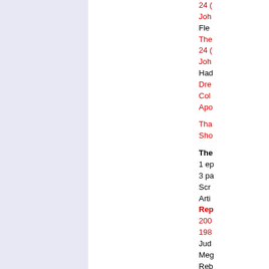[Figure (other): Lavender/light purple colored rectangular panel on the left side of the page]
24 (something)
Joh(n something)
Fle(something)
The(something)
24 (something)
Joh(n something)
Had(something)
Dre(something)
Col(something)
Apo(something)
Tha(something)
Sho(something)
The(something)
1 ep(something)
3 pa(something)
Scr(something)
Arti(something)
Rep(something)
200(something)
198(something)
Jud(something)
Meg(something)
Reb(something)
Fut(something)
Con(something)
Mo(something)
Sho(something)
Pric(something)
The(something)